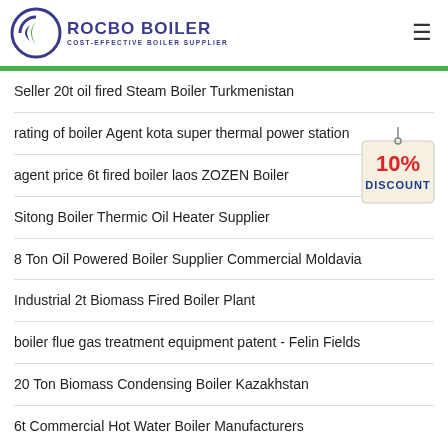ROCBO BOILER - COST-EFFECTIVE BOILER SUPPLIER
Seller 20t oil fired Steam Boiler Turkmenistan
rating of boiler Agent kota super thermal power station
agent price 6t fired boiler laos ZOZEN Boiler
Sitong Boiler Thermic Oil Heater Supplier
8 Ton Oil Powered Boiler Supplier Commercial Moldavia
Industrial 2t Biomass Fired Boiler Plant
boiler flue gas treatment equipment patent - Felin Fields
20 Ton Biomass Condensing Boiler Kazakhstan
6t Commercial Hot Water Boiler Manufacturers